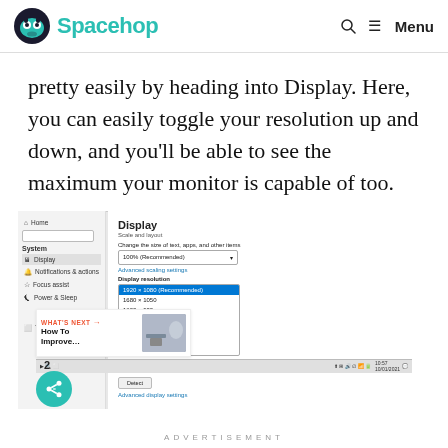Spacehop
pretty easily by heading into Display. Here, you can easily toggle your resolution up and down, and you'll be able to see the maximum your monitor is capable of too.
[Figure (screenshot): Windows 10 Display Settings screenshot showing resolution dropdown menu with options: 1920x1080 (Recommended) selected in blue, 1680x1050, 1600x900, 1280x1024, 1360x720, 1024x768, 800x600. Left sidebar shows Home, System, Display, Notifications & actions, Focus assist, Power & Sleep, Tablet mode.]
ADVERTISEMENT